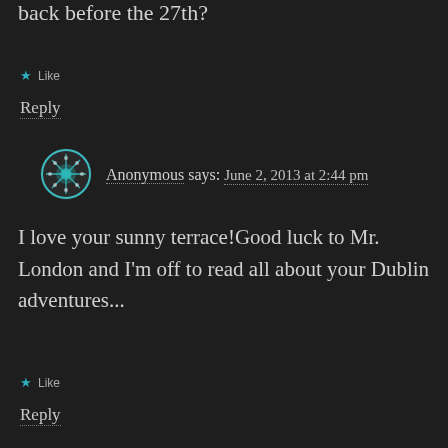back before the 27th?
★ Like
Reply
Anonymous says: June 2, 2013 at 2:44 pm
I love your sunny terrace!Good luck to Mr. London and I'm off to read all about your Dublin adventures...
★ Like
Reply